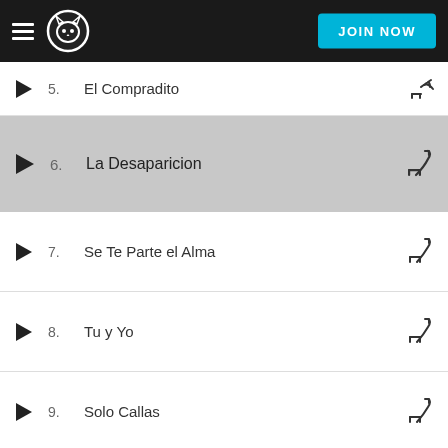Napster — JOIN NOW
5. El Compradito
6. La Desaparicion
7. Se Te Parte el Alma
8. Tu y Yo
9. Solo Callas